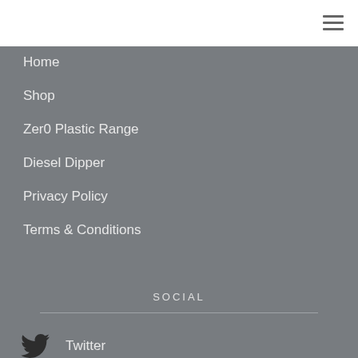≡
Home
Shop
Zer0 Plastic Range
Diesel Dipper
Privacy Policy
Terms & Conditions
SOCIAL
Twitter